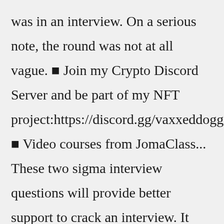was in an interview. On a serious note, the round was not at all vague. 🔷 Join my Crypto Discord Server and be part of my NFT project:https://discord.gg/vaxxeddoggoshttps://t 🔷 Video courses from JomaClass... These two sigma interview questions will provide better support to crack an interview. It provides the right direction to crack an interview in less time, as most of the